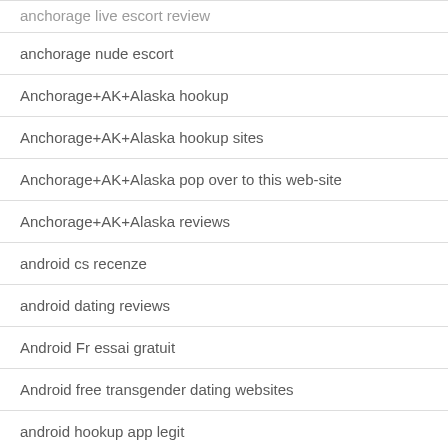anchorage live escort review
anchorage nude escort
Anchorage+AK+Alaska hookup
Anchorage+AK+Alaska hookup sites
Anchorage+AK+Alaska pop over to this web-site
Anchorage+AK+Alaska reviews
android cs recenze
android dating reviews
Android Fr essai gratuit
Android free transgender dating websites
android hookup app legit
android hookup app no sign up